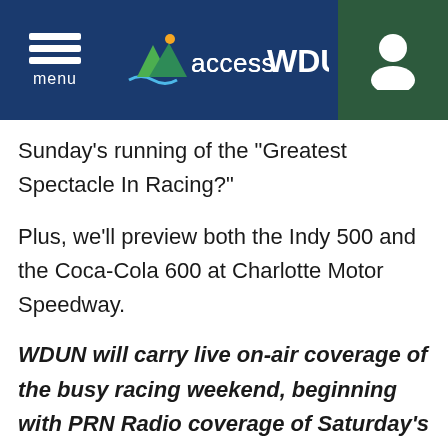accessWDUN
Sunday's running of the "Greatest Spectacle In Racing?"
Plus, we'll preview both the Indy 500 and the Coca-Cola 600 at Charlotte Motor Speedway.
WDUN will carry live on-air coverage of the busy racing weekend, beginning with PRN Radio coverage of Saturday's NASCAR Xfinity Series Alsco Uniforms 300 from Charlotte Motor Speedway at 12:30 pm on 102.9 FM and streaming live on AccessWDUN. On Sunday, coverage moves to the Indianapolis Motor